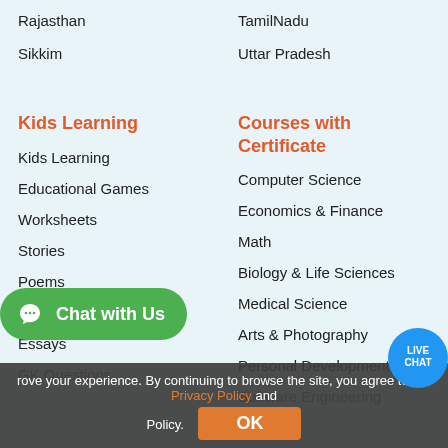Rajasthan
TamilNadu
Sikkim
Uttar Pradesh
Kids Learning
Courses with Certificate
Kids Learning
Computer Science
Educational Games
Economics & Finance
Worksheets
Math
Stories
Biology & Life Sciences
Poems
Medical Science
Questions
Arts & Photography
Essays
Personal Development
GK Questions
Software Engineering
Chat with Us
improve your experience. By continuing to browse the site, you agree to our Privacy Policy and Policy.